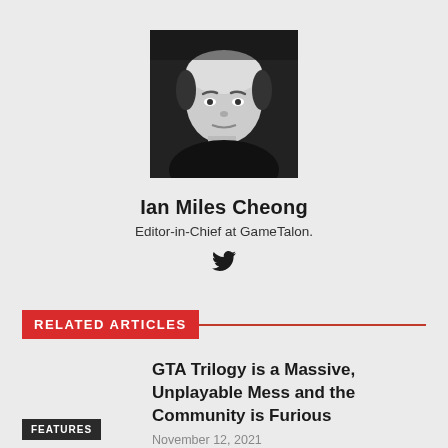[Figure (photo): Black and white headshot photo of Ian Miles Cheong, a man with light/bleached hair wearing a black top]
Ian Miles Cheong
Editor-in-Chief at GameTalon.
[Figure (other): Twitter bird icon]
RELATED ARTICLES
GTA Trilogy is a Massive, Unplayable Mess and the Community is Furious
November 12, 2021
FEATURES